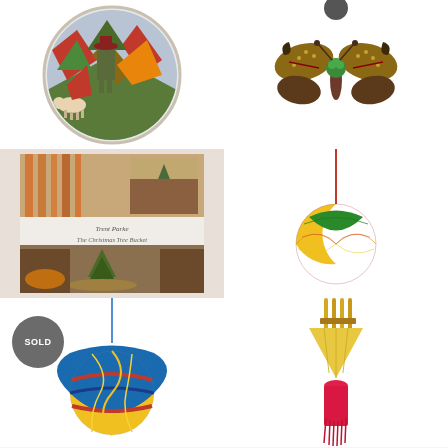[Figure (illustration): Circular decorative plate with illustrated scene of a person in a hat among colorful angular shapes, dogs or animals at bottom]
[Figure (illustration): Embroidered or textile butterfly brooch/ornament with green center, colorful beaded wings on white background]
[Figure (photo): Book 'Trent Parke The Christmas Tree Bucket' showing photo book with images of a small Christmas tree in a red bucket near a fireplace]
[Figure (photo): Colorful yarn/wool pom-pom ball ornament in red, yellow, and green hanging on red string, on white background]
[Figure (photo): Colorful woven ball ornament in yellow, blue, red stripes hanging on blue string, with SOLD badge overlay]
[Figure (photo): Yellow straw/bamboo ornament with pink tassel hanging decoration on white background]